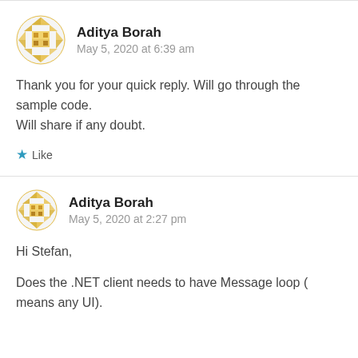Aditya Borah
May 5, 2020 at 6:39 am
Thank you for your quick reply. Will go through the sample code.
Will share if any doubt.
Like
Aditya Borah
May 5, 2020 at 2:27 pm
Hi Stefan,
Does the .NET client needs to have Message loop ( means any UI).